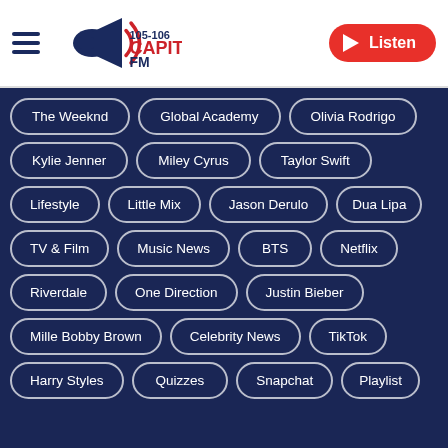[Figure (logo): Capital FM 105-106 radio logo with blue megaphone graphic]
Listen
The Weeknd
Global Academy
Olivia Rodrigo
Kylie Jenner
Miley Cyrus
Taylor Swift
Lifestyle
Little Mix
Jason Derulo
Dua Lipa
TV & Film
Music News
BTS
Netflix
Riverdale
One Direction
Justin Bieber
Mille Bobby Brown
Celebrity News
TikTok
Harry Styles
Quizzes
Snapchat
Playlist